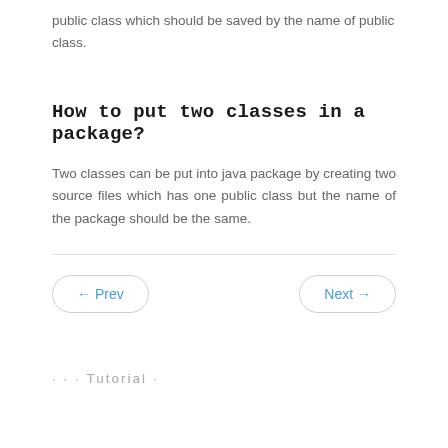public class which should be saved by the name of public class.
How to put two classes in a package?
Two classes can be put into java package by creating two source files which has one public class but the name of the package should be the same.
← Prev
Next →